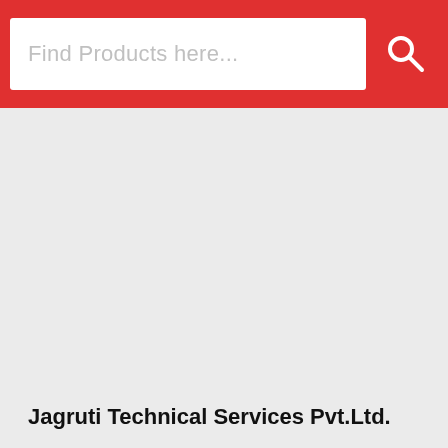[Figure (screenshot): Search bar UI with red background header, white search input box with placeholder text 'Find Products here...' and a search icon on the right]
Find Products here...
Jagruti Technical Services Pvt.Ltd.